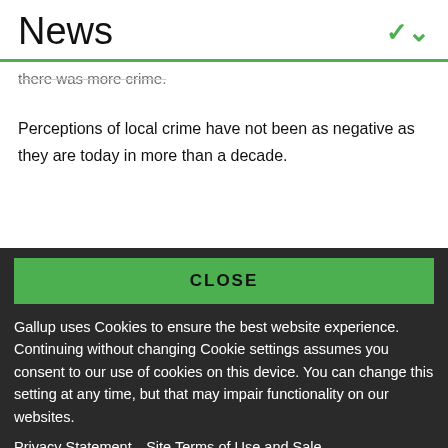News
there was more crime.
Perceptions of local crime have not been as negative as they are today in more than a decade.
CLOSE
Gallup uses Cookies to ensure the best website experience. Continuing without changing Cookie settings assumes you consent to our use of cookies on this device. You can change this setting at any time, but that may impair functionality on our websites.
Privacy Statement   Site Terms of Use and Sale
Product Terms of Use   Adjust your cookie settings.